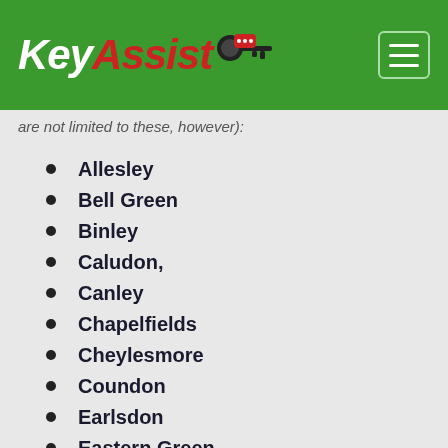KeyAssist
are not limited to these, however):
Allesley
Bell Green
Binley
Caludon,
Canley
Chapelfields
Cheylesmore
Coundon
Earlsdon
Eastern Green
Foleshill
Hillfields
Holbrooks
Keresley